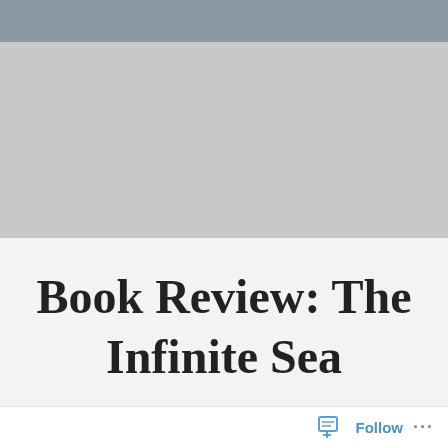[Figure (other): Gray header bar at top of page]
[Figure (photo): Large light gray rectangle representing a book cover image placeholder]
Book Review: The Infinite Sea
Follow ...